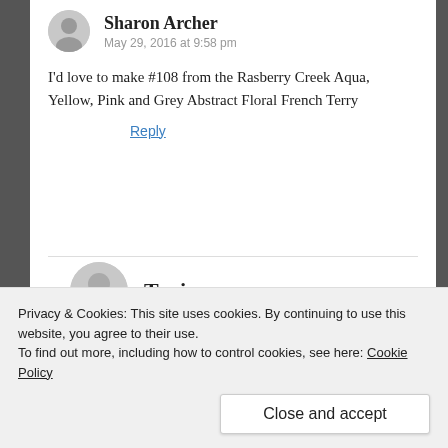Sharon Archer
May 29, 2016 at 9:58 pm
I'd love to make #108 from the Rasberry Creek Aqua, Yellow, Pink and Grey Abstract Floral French Terry
Reply
Tania  May 29, 2016 at 10:27 pm
These look cute! I love everything at RCF! Diana has become my go-to for knits!
Privacy & Cookies: This site uses cookies. By continuing to use this website, you agree to their use.
To find out more, including how to control cookies, see here: Cookie Policy
Close and accept